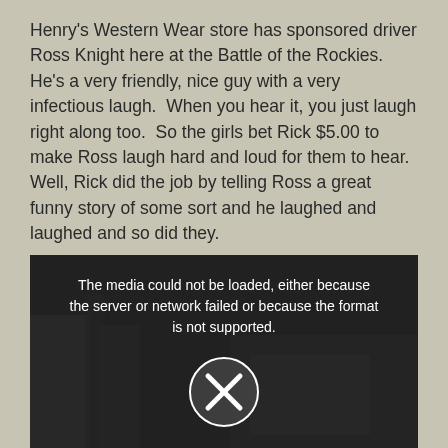Henry's Western Wear store has sponsored driver Ross Knight here at the Battle of the Rockies.  He's a very friendly, nice guy with a very infectious laugh.  When you hear it, you just laugh right along too.  So the girls bet Rick $5.00 to make Ross laugh hard and loud for them to hear.  Well, Rick did the job by telling Ross a great funny story of some sort and he laughed and laughed and so did they.
[Figure (screenshot): Video player showing a dark scene with a car/vehicle visible. An error overlay states: 'The media could not be loaded, either because the server or network failed or because the format is not supported.' with a circular X button.]